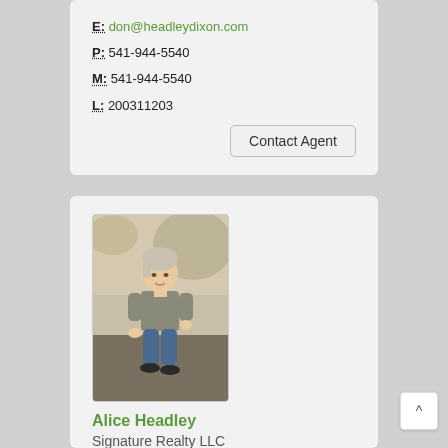E: don@headleydixon.com
P: 541-944-5540
M: 541-944-5540
L: 200311203
Contact Agent
[Figure (photo): Professional headshot of Alice Headley, a woman with short blonde/grey hair wearing a grey top and jeans, crouching outdoors in a natural setting.]
Alice Headley
Signature Realty LLC